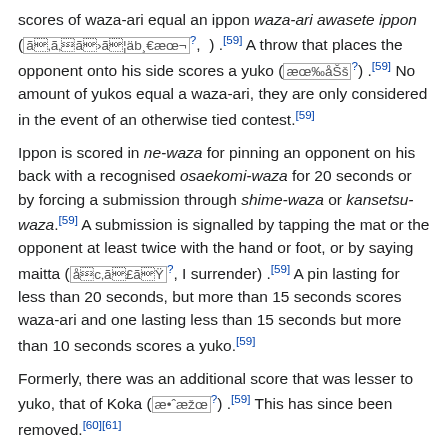scores of waza-ari equal an ippon waza-ari awasete ippon ([unicode]?, ) .[59] A throw that places the opponent onto his side scores a yuko ([unicode]?) .[59] No amount of yukos equal a waza-ari, they are only considered in the event of an otherwise tied contest.[59]
Ippon is scored in ne-waza for pinning an opponent on his back with a recognised osaekomi-waza for 20 seconds or by forcing a submission through shime-waza or kansetsu-waza.[59] A submission is signalled by tapping the mat or the opponent at least twice with the hand or foot, or by saying maitta ([unicode]?, I surrender) .[59] A pin lasting for less than 20 seconds, but more than 15 seconds scores waza-ari and one lasting less than 15 seconds but more than 10 seconds scores a yuko.[59]
Formerly, there was an additional score that was lesser to yuko, that of Koka ([unicode]?) .[59] This has since been removed.[60][61]
If the scores are identical at the end of the match, the contest is resolved by the Golden Score rule. Golden Score is a sudden death situation where the clock is reset to match-time, and the first contestant to achieve any score wins. If there is no score during this period, then the winner is decided by Hantei ([unicode]?) , the majority